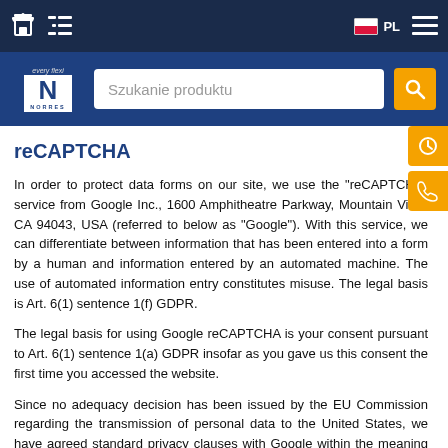NORRES website navigation bar with logo and search
reCAPTCHA
In order to protect data forms on our site, we use the "reCAPTCHA" service from Google Inc., 1600 Amphitheatre Parkway, Mountain View, CA 94043, USA (referred to below as "Google"). With this service, we can differentiate between information that has been entered into a form by a human and information entered by an automated machine. The use of automated information entry constitutes misuse. The legal basis is Art. 6(1) sentence 1(f) GDPR.
The legal basis for using Google reCAPTCHA is your consent pursuant to Art. 6(1) sentence 1(a) GDPR insofar as you gave us this consent the first time you accessed the website.
Since no adequacy decision has been issued by the EU Commission regarding the transmission of personal data to the United States, we have agreed standard privacy clauses with Google within the meaning of Art. 46(2) point c GDPR.